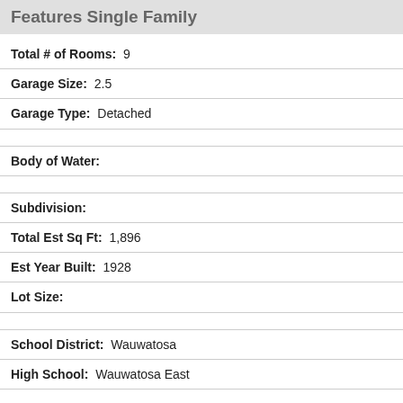Features Single Family
Total # of Rooms:  9
Garage Size:  2.5
Garage Type:  Detached
Body of Water:
Subdivision:
Total Est Sq Ft:  1,896
Est Year Built:  1928
Lot Size:
School District:  Wauwatosa
High School:  Wauwatosa East